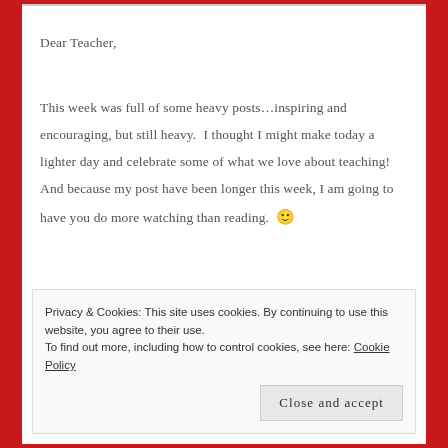Dear Teacher,
This week was full of some heavy posts…inspiring and encouraging, but still heavy.  I thought I might make today a lighter day and celebrate some of what we love about teaching!  And because my post have been longer this week, I am going to have you do more watching than reading. 🙂
Privacy & Cookies: This site uses cookies. By continuing to use this website, you agree to their use.
To find out more, including how to control cookies, see here: Cookie Policy
Close and accept